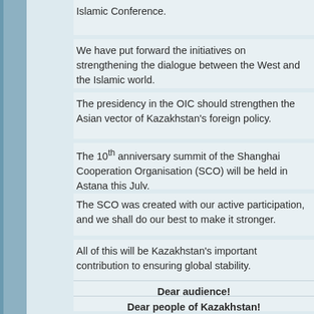Islamic Conference.
We have put forward the initiatives on strengthening the dialogue between the West and the Islamic world.
The presidency in the OIC should strengthen the Asian vector of Kazakhstan's foreign policy.
The 10th anniversary summit of the Shanghai Cooperation Organisation (SCO) will be held in Astana this July.
The SCO was created with our active participation, and we shall do our best to make it stronger.
All of this will be Kazakhstan's important contribution to ensuring global stability.
Dear audience!
Dear people of Kazakhstan!
You all know about the initiative of holding the referendum on the term of the office of the head of state.